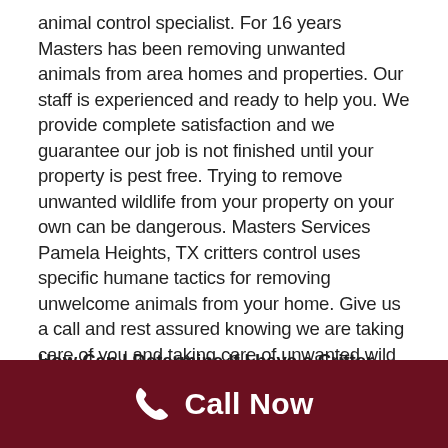animal control specialist. For 16 years Masters has been removing unwanted animals from area homes and properties. Our staff is experienced and ready to help you. We provide complete satisfaction and we guarantee our job is not finished until your property is pest free. Trying to remove unwanted wildlife from your property on your own can be dangerous. Masters Services Pamela Heights, TX critters control uses specific humane tactics for removing unwelcome animals from your home. Give us a call and rest assured knowing we are taking care of you and taking care of unwanted wild animals in your home and property.
How Can I Determine If I have a Critter Taking Up Residence With Me and Need Pamela Heights, TX
Call Now